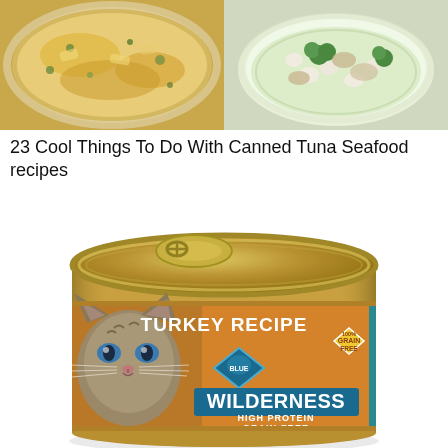[Figure (photo): Two food images side by side: left shows a cheesy baked pasta or casserole dish with breadcrumbs, right shows a soup with white beans, broccoli and vegetables]
23 Cool Things To Do With Canned Tuna Seafood recipes
[Figure (photo): Blue Wilderness cat food can - Turkey Recipe, High Protein Grain-Free, with a lynx/bobcat on the label]